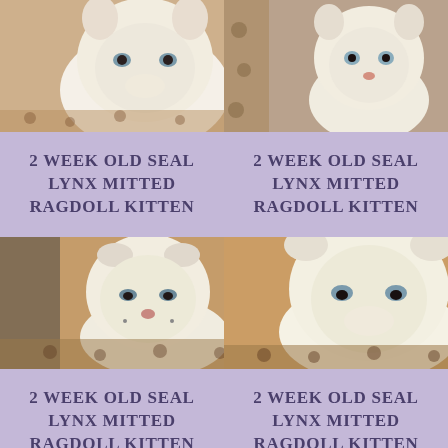[Figure (photo): 2 week old seal lynx mitted ragdoll kitten, close-up of white fluffy kitten face, top-left photo]
[Figure (photo): 2 week old seal lynx mitted ragdoll kitten, white kitten sitting on leopard print blanket, top-right photo]
2 WEEK OLD SEAL LYNX MITTED RAGDOLL KITTEN
2 WEEK OLD SEAL LYNX MITTED RAGDOLL KITTEN
[Figure (photo): 2 week old seal lynx mitted ragdoll kitten, white fluffy kitten with folded ears facing camera, middle-left photo]
[Figure (photo): 2 week old seal lynx mitted ragdoll kitten, white fluffy kitten close-up on leopard print blanket, middle-right photo]
2 WEEK OLD SEAL LYNX MITTED RAGDOLL KITTEN
2 WEEK OLD SEAL LYNX MITTED RAGDOLL KITTEN
[Figure (photo): 2 week old seal lynx mitted ragdoll kitten, partial bottom-left photo]
[Figure (photo): 2 week old seal lynx mitted ragdoll kitten, partial bottom-right photo]